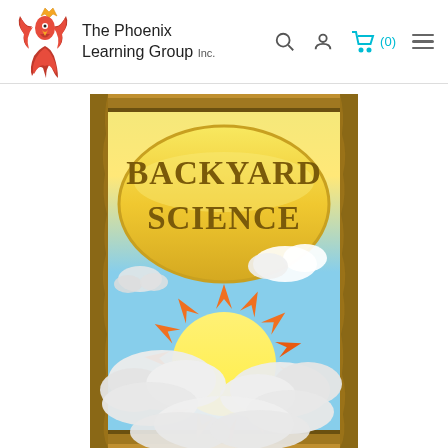The Phoenix Learning Group Inc.
[Figure (illustration): Book cover for 'Backyard Science' showing a cartoon sun with orange rays rising above clouds against a blue sky, inside a wooden frame border. The title 'BACKYARD SCIENCE' appears in large brown text on a gold oval badge at the top.]